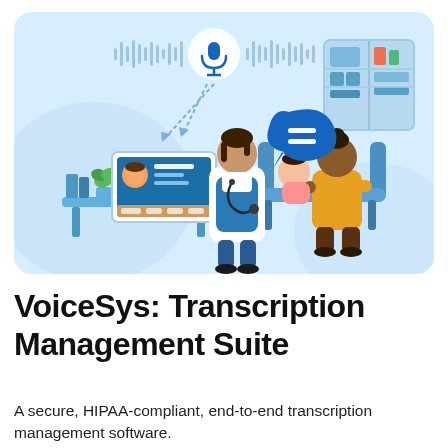[Figure (illustration): A flat-style illustration on a light blue background showing a medical consultation scene. A female doctor in a white coat uses a stethoscope to examine a baby held by its mother, who is seated on a chair. A desk with a computer monitor displaying medical software is on the left, with a small plant nearby. Above the scene, a microphone icon sits in a circular glow with audio waveforms on either side, and downward arrows connecting it to the computer. A blue speech bubble with an equals sign is shown near the doctor. Medical supply shelves are visible in the upper right.]
VoiceSys: Transcription Management Suite
A secure, HIPAA-compliant, end-to-end transcription management software.